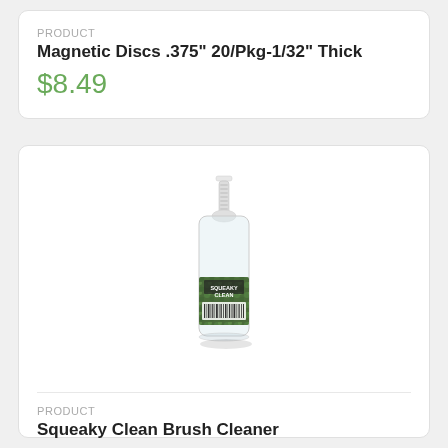PRODUCT
Magnetic Discs .375" 20/Pkg-1/32" Thick
$8.49
[Figure (photo): A small clear spray bottle with white pump top and a green nature-themed label reading 'Squeaky Clean']
PRODUCT
Squeaky Clean Brush Cleaner
$9.99